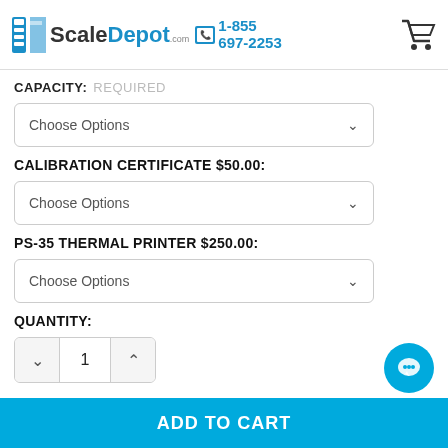ScaleDepot.com 1-855 697-2253
CAPACITY: REQUIRED
Choose Options
CALIBRATION CERTIFICATE $50.00:
Choose Options
PS-35 THERMAL PRINTER $250.00:
Choose Options
QUANTITY:
1
ADD TO CART